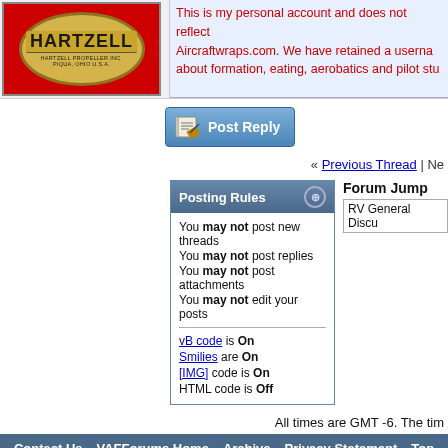[Figure (logo): Hartzell Propeller Inc. oval logo on red background]
This is my personal account and does not reflect Aircraftwraps.com. We have retained a username about formation, eating, aerobatics and pilot stu
[Figure (screenshot): Post Reply button with pencil/paper icon]
« Previous Thread | Ne
Posting Rules
You may not post new threads
You may not post replies
You may not post attachments
You may not edit your posts
vB code is On
Smilies are On
[IMG] code is On
HTML code is Off
Forum Jump
RV General Discu
All times are GMT -6. The tim
Contact Us - VAFForums Home - Archive - Privacy Statement - Top
The VAFForums come to you courtesy Delta Romeo, LLC. By viewing and participating in them you agree to build your plane using standardized methods and practices and to fly it safely and in accordance with the laws governing the country you are located in.